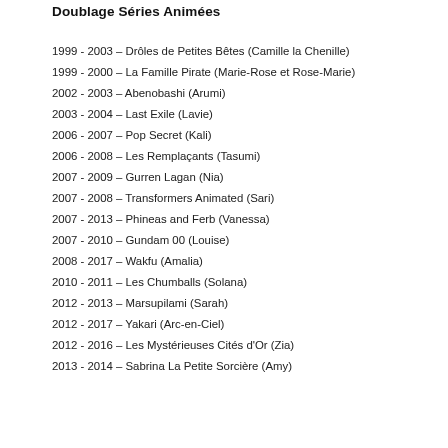Doublage Séries Animées
1999 - 2003 – Drôles de Petites Bêtes (Camille la Chenille)
1999 - 2000 – La Famille Pirate (Marie-Rose et Rose-Marie)
2002 - 2003 – Abenobashi (Arumi)
2003 - 2004 – Last Exile (Lavie)
2006 - 2007 – Pop Secret (Kali)
2006 - 2008 – Les Remplaçants (Tasumi)
2007 - 2009 – Gurren Lagan (Nia)
2007 - 2008 – Transformers Animated (Sari)
2007 - 2013 – Phineas and Ferb (Vanessa)
2007 - 2010 – Gundam 00 (Louise)
2008 - 2017 – Wakfu (Amalia)
2010 - 2011 – Les Chumballs (Solana)
2012 - 2013 – Marsupilami (Sarah)
2012 - 2017 – Yakari (Arc-en-Ciel)
2012 - 2016 – Les Mystérieuses Cités d'Or (Zia)
2013 - 2014 – Sabrina La Petite Sorcière (Amy)